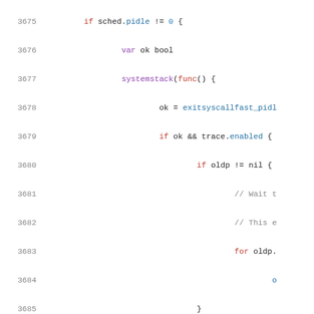[Figure (screenshot): Source code listing in Go language, lines 3675-3697, showing conditional logic with sched.pidle check, systemstack call, exitsyscallfast_pidl, trace.enabled check, oldp nil check, for loop, traceGoSysExit, and return statements]